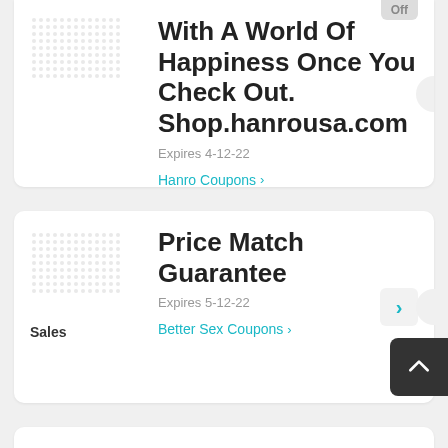With A World Of Happiness Once You Check Out. Shop.hanrousa.com
Expires 4-12-22
Hanro Coupons >
Sales
Price Match Guarantee
Expires 5-12-22
Better Sex Coupons >
Skin Care Items Low To $4.95